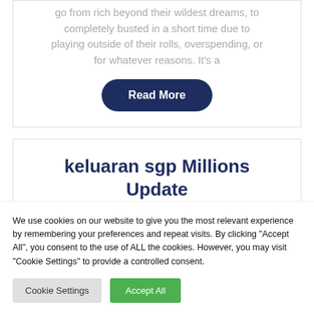go from rich beyond their wildest dreams, to completely busted in a short time due to playing outside of their rolls, overspending, or for whatever reasons. It’s a
Read More
keluaran sgp Millions Update
We use cookies on our website to give you the most relevant experience by remembering your preferences and repeat visits. By clicking “Accept All”, you consent to the use of ALL the cookies. However, you may visit “Cookie Settings” to provide a controlled consent.
Cookie Settings
Accept All